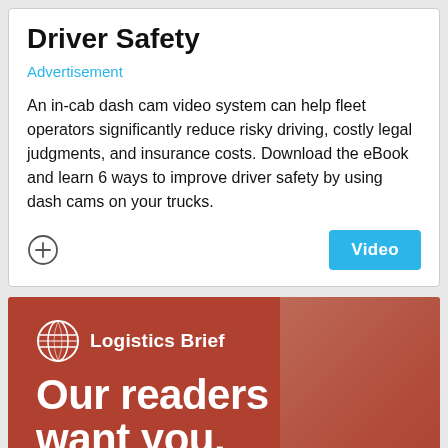Driver Safety
Advertisement
An in-cab dash cam video system can help fleet operators significantly reduce risky driving, costly legal judgments, and insurance costs. Download the eBook and learn 6 ways to improve driver safety by using dash cams on your trucks.
[Figure (infographic): Logistics Brief advertisement banner with red/brown background. Shows a globe icon, 'Logistics Brief' branding, large text 'Our readers want you.' and 'Click for media kit.' with a blurred image of hands on a keyboard in the background.]